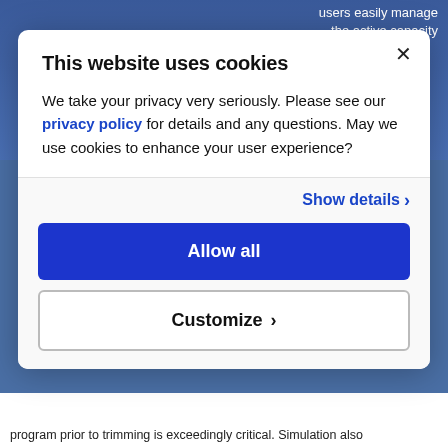This website uses cookies
We take your privacy very seriously. Please see our privacy policy for details and any questions. May we use cookies to enhance your user experience?
Show details >
Allow all
Customize >
program prior to trimming is exceedingly critical. Simulation also